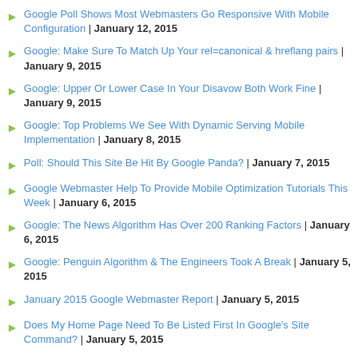Google Poll Shows Most Webmasters Go Responsive With Mobile Configuration | January 12, 2015
Google: Make Sure To Match Up Your rel=canonical & hreflang pairs | January 9, 2015
Google: Upper Or Lower Case In Your Disavow Both Work Fine | January 9, 2015
Google: Top Problems We See With Dynamic Serving Mobile Implementation | January 8, 2015
Poll: Should This Site Be Hit By Google Panda? | January 7, 2015
Google Webmaster Help To Provide Mobile Optimization Tutorials This Week | January 6, 2015
Google: The News Algorithm Has Over 200 Ranking Factors | January 6, 2015
Google: Penguin Algorithm & The Engineers Took A Break | January 5, 2015
January 2015 Google Webmaster Report | January 5, 2015
Does My Home Page Need To Be Listed First In Google's Site Command? | January 5, 2015
Google: Your HTTPS Site Has Canonicals Pointing To HTTP | January 2, 2015
Google Quality Algorithms Don't Bring On Deeper Web Crawls | January 2, 2015
Did Comments Cause This Site To Get Hit By Google Panda 4.1? | December 31, 2014
Google: Don't Worry About The Ouput Of The Site Command | December 31, 2014
Webmasters Talk About 2015 SEO & Search Trends & Predictions | December 30, 2014
Google's John Mueller: Report Rich Snippet Spam To Me | December 30, 2014